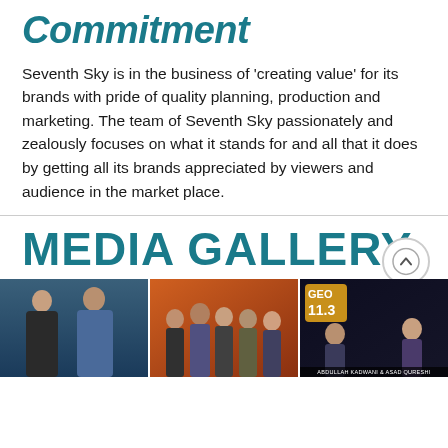Commitment
Seventh Sky is in the business of ‘creating value’ for its brands with pride of quality planning, production and marketing. The team of Seventh Sky passionately and zealously focuses on what it stands for and all that it does by getting all its brands appreciated by viewers and audience in the market place.
MEDIA GALLERY
[Figure (photo): Three media gallery photos side by side: left shows two men in formal attire against a blue background, middle shows a group of people at an event with colorful backdrop, right shows a GEO 11.3 TV show promotional image with two hosts (Abdullah Kadwani & Asad Qureshi)]